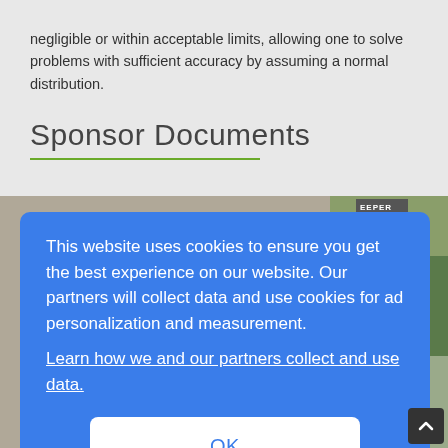negligible or within acceptable limits, allowing one to solve problems with sufficient accuracy by assuming a normal distribution.
Sponsor Documents
[Figure (screenshot): Cookie consent overlay dialog on a blue background with text about cookies and an OK button, overlaid on a webpage showing sponsor documents section with nature photos in the background.]